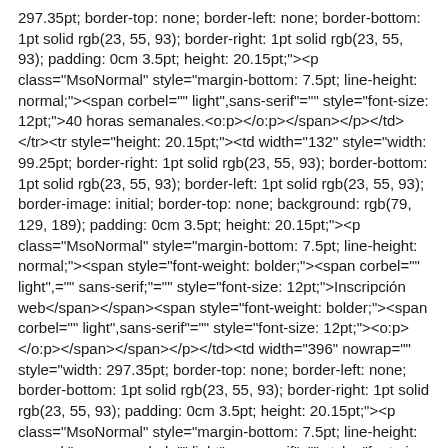297.35pt; border-top: none; border-left: none; border-bottom: 1pt solid rgb(23, 55, 93); border-right: 1pt solid rgb(23, 55, 93); padding: 0cm 3.5pt; height: 20.15pt;"><p class="MsoNormal" style="margin-bottom: 7.5pt; line-height: normal;"><span corbel="" light",sans-serif"="" style="font-size: 12pt;">40 horas semanales.<o:p></o:p></span></p></td></tr><tr style="height: 20.15pt;"><td width="132" style="width: 99.25pt; border-right: 1pt solid rgb(23, 55, 93); border-bottom: 1pt solid rgb(23, 55, 93); border-left: 1pt solid rgb(23, 55, 93); border-image: initial; border-top: none; background: rgb(79, 129, 189); padding: 0cm 3.5pt; height: 20.15pt;"><p class="MsoNormal" style="margin-bottom: 7.5pt; line-height: normal;"><span style="font-weight: bolder;"><span corbel="" light",="" sans-serif;"="" style="font-size: 12pt;">Inscripción web</span></span><span style="font-weight: bolder;"><span corbel="" light",sans-serif"="" style="font-size: 12pt;"><o:p></o:p></span></span></p></td><td width="396" nowrap="" style="width: 297.35pt; border-top: none; border-left: none; border-bottom: 1pt solid rgb(23, 55, 93); border-right: 1pt solid rgb(23, 55, 93); padding: 0cm 3.5pt; height: 20.15pt;"><p class="MsoNormal" style="margin-bottom: 7.5pt; line-height: normal;"><span corbel="" light",sans-serif"="" style="font-size: 12pt;">Del&nbsp;16/06/2020&nbsp;al&nbsp;22/06/2020<o:p